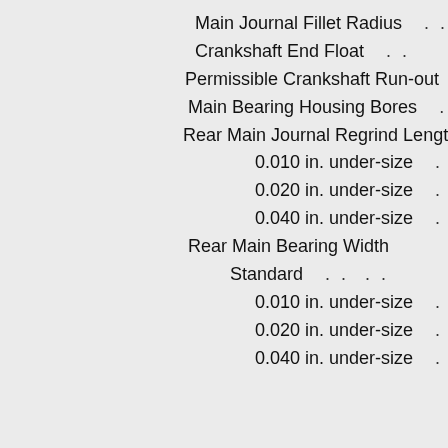Main Journal Fillet Radius . .
Crankshaft End Float . .
Permissible Crankshaft Run-out . .
Main Bearing Housing Bores . .
Rear Main Journal Regrind Length
0.010 in. under-size . .
0.020 in. under-size . .
0.040 in. under-size . .
Rear Main Bearing Width
Standard . . . .
0.010 in. under-size . .
0.020 in. under-size . .
0.040 in. under-size . .